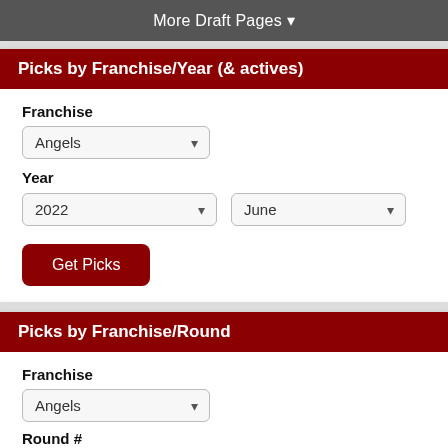More Draft Pages ▾
Picks by Franchise/Year (& actives)
Franchise
Angels
Year
2022
June
Get Picks
Picks by Franchise/Round
Franchise
Angels
Round #
1
June